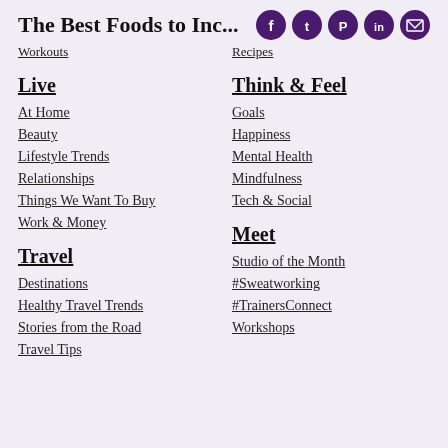The Best Foods to Inc...
Workouts
Recipes
Live
At Home
Beauty
Lifestyle Trends
Relationships
Things We Want To Buy
Work & Money
Think & Feel
Goals
Happiness
Mental Health
Mindfulness
Tech & Social
Travel
Destinations
Healthy Travel Trends
Stories from the Road
Travel Tips
Meet
Studio of the Month
#Sweatworking
#TrainersConnect
Workshops